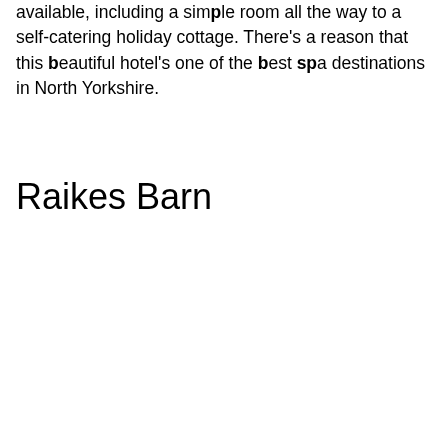available, including a simple room all the way to a self-catering holiday cottage. There's a reason that this beautiful hotel's one of the best spa destinations in North Yorkshire.
Raikes Barn